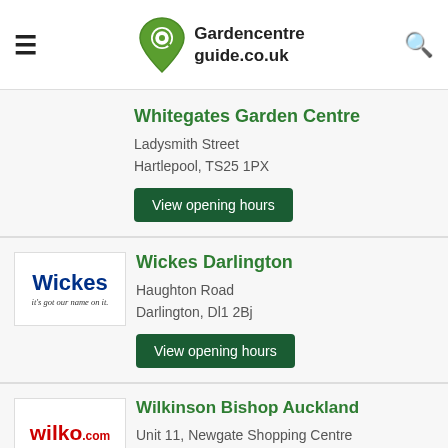Gardencentreguide.co.uk
Whitegates Garden Centre
Ladysmith Street
Hartlepool, TS25 1PX
View opening hours
Wickes Darlington
Haughton Road
Darlington, Dl1 2Bj
View opening hours
Wilkinson Bishop Auckland
Unit 11, Newgate Shopping Centre
Bishop Auckland, DL14 7JO